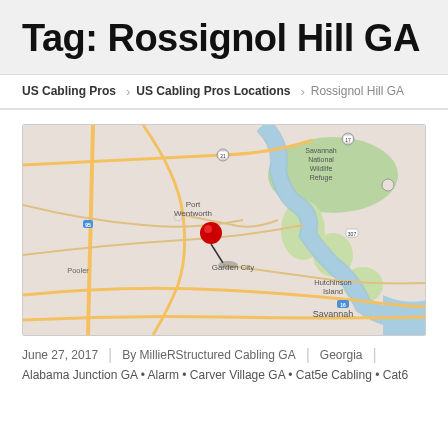Tag: Rossignol Hill GA
US Cabling Pros / US Cabling Pros Locations / Rossignol Hill GA
[Figure (map): Google Maps screenshot showing Rossignol Hill GA area near Garden City and Savannah, Georgia with a red location pin marker. Shows Hutchinson Island, Savannah National Wildlife Refuge, and Port Wentworth.]
June 27, 2017 | By MillieRStructured Cabling GA | Georgia |
Alabama Junction GA • Alarm • Carver Village GA • Cat5e Cabling • Cat6